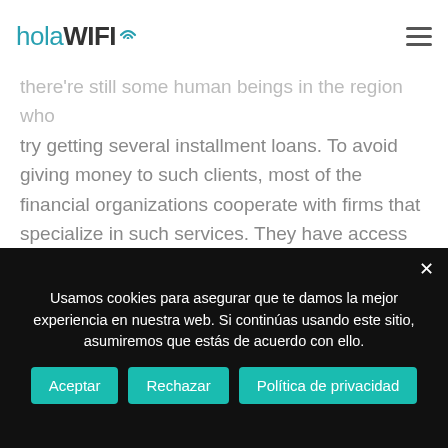holaWIFI
there're still some human beings in the region who try getting several installment loans. To avoid giving money to such clients, most of the financial organizations cooperate with firms that specialize in such services. They have access to a list of individuals who have got loans recently. If a borrower is unable to make a loan payment on the time due, he/she is thought to be a defaulting customer. Anyway, repossession is thought to be the last option for a lender.
Usamos cookies para asegurar que te damos la mejor experiencia en nuestra web. Si continúas usando este sitio, asumiremos que estás de acuerdo con ello.